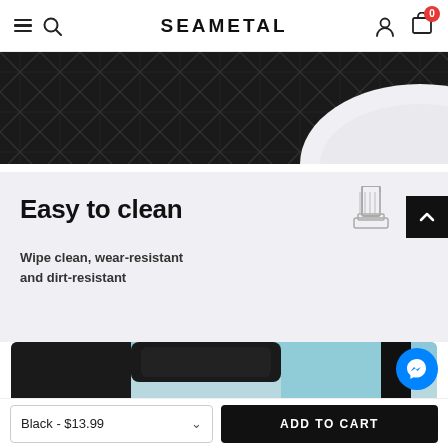SEAMETAL
[Figure (photo): Close-up of quilted black leather material with diamond stitching pattern]
Easy to clean
Wipe clean, wear-resistant and dirt-resistant
[Figure (photo): Car seat back organizer/net made of black quilted leather installed in a vehicle, with cup holder and storage pockets visible]
Black - $13.99
ADD TO CART